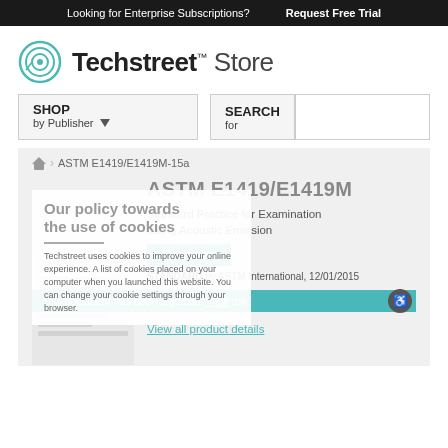Looking for Enterprise Subscriptions?    Request Free Trial
[Figure (logo): Techstreet Store logo with teal circular icon]
SHOP by Publisher
SEARCH for
ASTM E1419/E1419M-15a
Our policy towards the use of cookies
Techstreet uses cookies to improve your online experience. A list of cookies placed on your computer when you launched this website. You can change your cookie settings through your browser.
ASTM E1419/E1419M
Standard Practice for Examination of Seamless, Gas-Filled, Pressure Vessels Using Acoustic Emission
Continue
STANDARD by ASTM International, 12/01/2015
This document has been replaced. View mo
View all product details